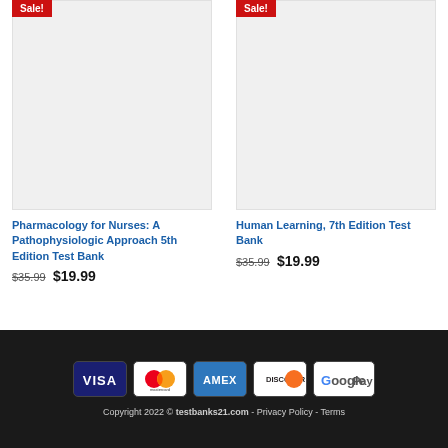[Figure (photo): Product card for Pharmacology for Nurses book with Sale badge and gray placeholder image]
Pharmacology for Nurses: A Pathophysiologic Approach 5th Edition Test Bank
$35.99  $19.99
[Figure (photo): Product card for Human Learning 7th Edition book with Sale badge and gray placeholder image]
Human Learning, 7th Edition Test Bank
$35.99  $19.99
[Figure (infographic): Payment method icons: VISA, Mastercard, AMEX, DISCOVER, Google Pay]
Copyright 2022 © testbanks21.com - Privacy Policy - Terms